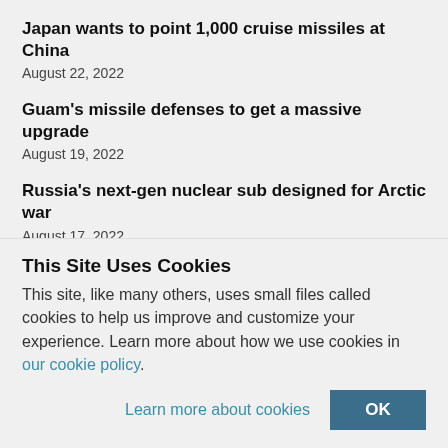Japan wants to point 1,000 cruise missiles at China
August 22, 2022
Guam's missile defenses to get a massive upgrade
August 19, 2022
Russia's next-gen nuclear sub designed for Arctic war
August 17, 2022
China deploys latest attack sub for a Taiwan standoff
August 16, 2022
Taiwan's Patriot missiles to get massive US upgrade
This Site Uses Cookies
This site, like many others, uses small files called cookies to help us improve and customize your experience. Learn more about how we use cookies in our cookie policy.
Learn more about cookies
OK